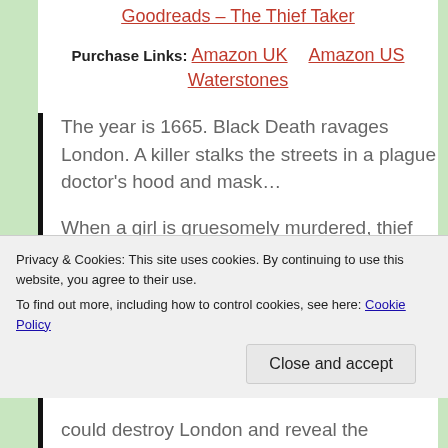Goodreads – The Thief Taker
Purchase Links: Amazon UK    Amazon US
Waterstones
The year is 1665. Black Death ravages London. A killer stalks the streets in a plague doctor's hood and mask…

When a girl is gruesomely murdered, thief taker Charlie Tuesday reluctantly
Privacy & Cookies: This site uses cookies. By continuing to use this website, you agree to their use.
To find out more, including how to control cookies, see here: Cookie Policy
Close and accept
could destroy London and reveal the